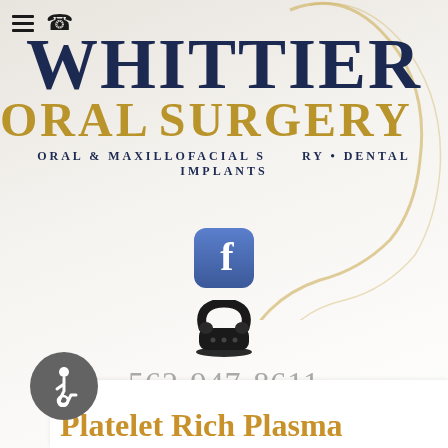[Figure (logo): Whittier Oral Surgery logo with decorative gold script swash, dark navy 'WHITTIER' text and gold 'ORAL SURGERY' text, tagline 'ORAL & MAXILLOFACIAL SURGERY • DENTAL IMPLANTS']
[Figure (logo): Facebook icon - blue rounded square with white 'f' letter]
[Figure (illustration): Vintage black rotary telephone icon]
562-947-8611
fax: 562-947-8614
[Figure (illustration): Accessibility wheelchair icon in dark grey circle]
Platelet Rich Plasma